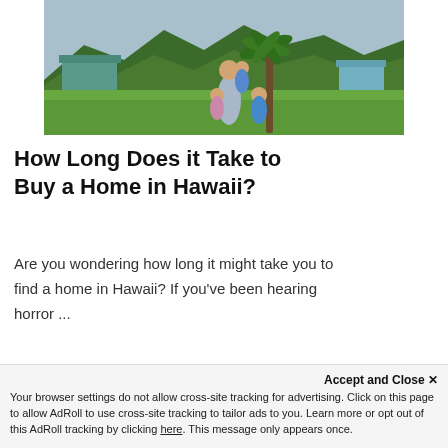[Figure (photo): Family photo outdoors in Hawaii: a woman holding a child, with two other children near a palm tree, green grass in foreground, tropical mountains and a house in background.]
How Long Does it Take to Buy a Home in Hawaii?
Are you wondering how long it might take you to find a home in Hawaii? If you've been hearing horror ...
Cherie Tsukamoto | January 5, 2022
Accept and Close ✕
Your browser settings do not allow cross-site tracking for advertising. Click on this page to allow AdRoll to use cross-site tracking to tailor ads to you. Learn more or opt out of this AdRoll tracking by clicking here. This message only appears once.